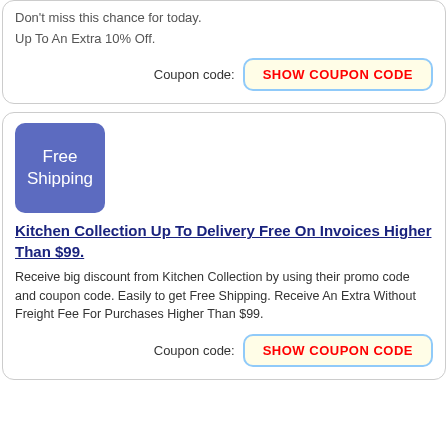Don't miss this chance for today.
Up To An Extra 10% Off.
Coupon code: SHOW COUPON CODE
[Figure (infographic): Blue rounded square with white text reading 'Free Shipping']
Kitchen Collection Up To Delivery Free On Invoices Higher Than $99.
Receive big discount from Kitchen Collection by using their promo code and coupon code. Easily to get Free Shipping. Receive An Extra Without Freight Fee For Purchases Higher Than $99.
Coupon code: SHOW COUPON CODE